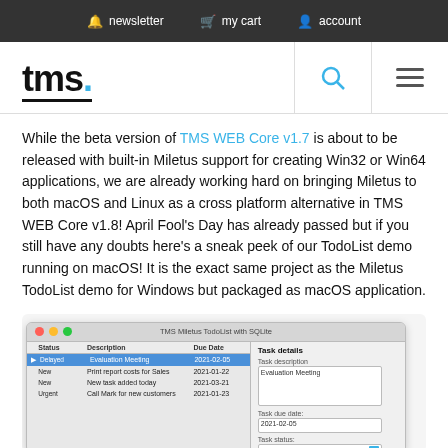newsletter   my cart   account
[Figure (screenshot): TMS logo with search and hamburger menu icons]
While the beta version of TMS WEB Core v1.7 is about to be released with built-in Miletus support for creating Win32 or Win64 applications, we are already working hard on bringing Miletus to both macOS and Linux as a cross platform alternative in TMS WEB Core v1.8! April Fool's Day has already passed but if you still have any doubts here's a sneak peek of our TodoList demo running on macOS! It is the exact same project as the Miletus TodoList demo for Windows but packaged as macOS application.
[Figure (screenshot): macOS application window showing TMS Miletus TodoList with SQLite, with a task list on the left showing Delayed/New/Urgent statuses and Task details panel on the right]